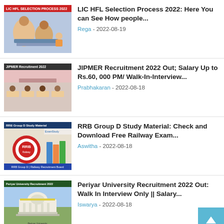[Figure (photo): Thumbnail for LIC HFL Selection Process 2022 article showing a family studying together]
LIC HFL Selection Process 2022: Here You can See How people...
Rega - 2022-08-19
[Figure (photo): Thumbnail for JIPMER Recruitment 2022 article showing students in an exam hall]
JIPMER Recruitment 2022 Out; Salary Up to Rs.60, 000 PM/ Walk-In-Interview...
Prabhakaran - 2022-08-18
[Figure (photo): Thumbnail for RRB Group D Study Material article showing RRB logo and study books]
RRB Group D Study Material: Check and Download Free Railway Exam...
Aswitha - 2022-08-18
[Figure (photo): Thumbnail for Periyar University Recruitment 2022 article showing university building]
Periyar University Recruitment 2022 Out: Walk In Interview Only || Salary...
Iswarya - 2022-08-18